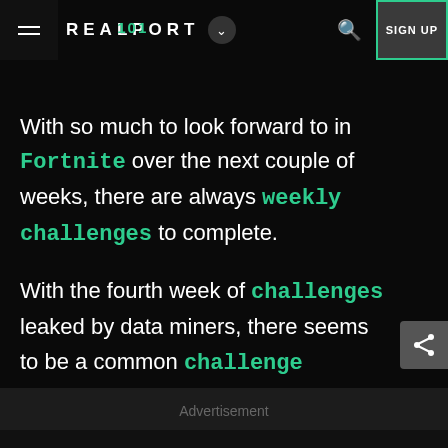REALSPORT 101 — Navigation header with hamburger menu, logo, dropdown, search, and SIGN UP button
With so much to look forward to in Fortnite over the next couple of weeks, there are always weekly challenges to complete.
With the fourth week of challenges leaked by data miners, there seems to be a common challenge appearing again.
Advertisement